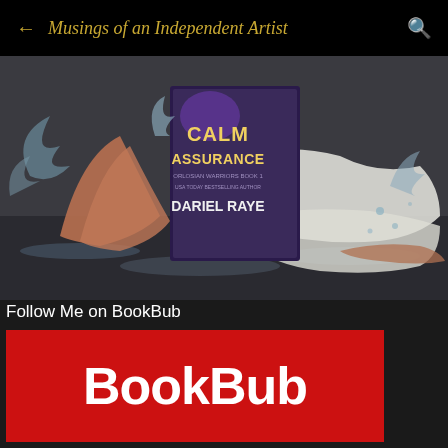Musings of an Independent Artist
[Figure (photo): Book cover for 'Calm Assurance – Orlosian Warriors Book 1' by Dariel Raye, shown alongside a woman in a wet white dress lying on a wet surface with water splashing around her.]
Follow Me on BookBub
[Figure (logo): BookBub logo – white bold text on red background]